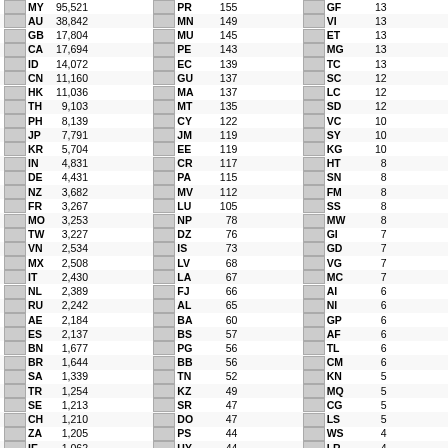| Flag | Code | Value | Flag | Code | Value | Flag | Code | Value |
| --- | --- | --- | --- | --- | --- | --- | --- | --- |
| MY | 95,521 | PR | 155 | GF | 13 |
| AU | 38,842 | MN | 149 | VI | 13 |
| GB | 17,804 | MU | 145 | ET | 13 |
| CA | 17,694 | PE | 143 | MG | 13 |
| ID | 14,072 | EC | 139 | TC | 13 |
| CN | 11,160 | GU | 137 | SC | 12 |
| HK | 11,036 | MA | 137 | LC | 12 |
| TH | 9,103 | MT | 135 | SD | 12 |
| PH | 8,139 | CY | 122 | VC | 10 |
| JP | 7,791 | JM | 119 | SY | 10 |
| KR | 5,704 | EE | 119 | KG | 10 |
| IN | 4,831 | CR | 117 | HT | 8 |
| DE | 4,431 | PA | 115 | SN | 8 |
| NZ | 3,682 | MV | 112 | FM | 8 |
| FR | 3,267 | LU | 105 | SS | 8 |
| MO | 3,253 | NP | 78 | MW | 8 |
| TW | 3,227 | DZ | 76 | GI | 7 |
| VN | 2,534 | IS | 73 | GD | 7 |
| MX | 2,508 | LV | 68 | VG | 7 |
| IT | 2,430 | LA | 67 | MC | 7 |
| NL | 2,389 | FJ | 66 | AI | 6 |
| RU | 2,242 | AL | 65 | NI | 6 |
| AE | 2,184 | BA | 60 | GP | 6 |
| ES | 2,137 | BS | 57 | AF | 6 |
| BN | 1,677 | PG | 56 | TL | 6 |
| BR | 1,644 | BB | 56 | CM | 6 |
| SA | 1,339 | TN | 52 | KN | 5 |
| TR | 1,254 | KZ | 49 | MQ | 5 |
| SE | 1,213 | SR | 47 | CG | 5 |
| CH | 1,210 | DO | 47 | LS | 5 |
| ZA | 1,205 | PS | 44 | WS | 4 |
| IE | 1,062 | UY | 44 | LR | 4 |